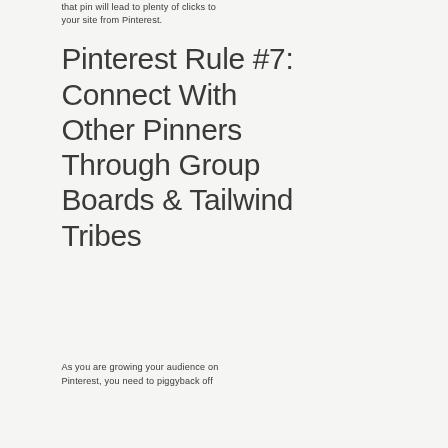that pin will lead to plenty of clicks to your site from Pinterest.
Pinterest Rule #7: Connect With Other Pinners Through Group Boards & Tailwind Tribes
As you are growing your audience on Pinterest, you need to piggyback off